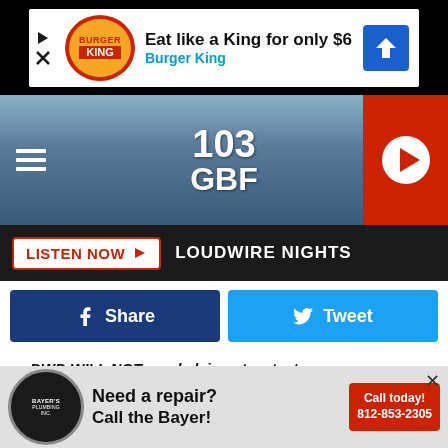[Figure (screenshot): Burger King advertisement banner: 'Eat like a King for only $6 - Burger King']
[Figure (screenshot): 103 GBF radio station navigation bar with hamburger menu and play button]
LISTEN NOW  LOUDWIRE NIGHTS
[Figure (screenshot): Facebook Share and Twitter Tweet social sharing buttons]
-- DWD WILL NOT send claimants a text message
As a reminder, DWD WILL NOT send claimants a text message. If you receive a text from someone claiming to be us, do NOT click on the link. Clicking the link could give fraudsters access to information on your phone which could then allow them to take over your UI account.
[Figure (screenshot): Bayer's Plumbing advertisement: 'Need a repair? Call the Bayer! 812-853-2305']